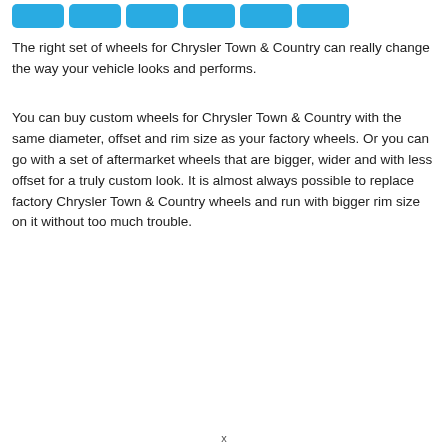[Figure (other): Row of six blue rounded rectangle buttons at the top of the page]
The right set of wheels for Chrysler Town & Country can really change the way your vehicle looks and performs.
You can buy custom wheels for Chrysler Town & Country with the same diameter, offset and rim size as your factory wheels. Or you can go with a set of aftermarket wheels that are bigger, wider and with less offset for a truly custom look. It is almost always possible to replace factory Chrysler Town & Country wheels and run with bigger rim size on it without too much trouble.
x